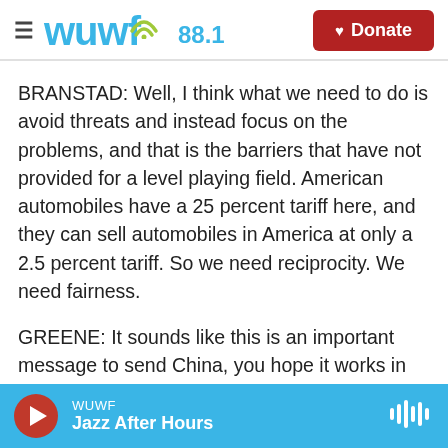WUWF 88.1 — Donate
BRANSTAD: Well, I think what we need to do is avoid threats and instead focus on the problems, and that is the barriers that have not provided for a level playing field. American automobiles have a 25 percent tariff here, and they can sell automobiles in America at only a 2.5 percent tariff. So we need reciprocity. We need fairness.
GREENE: It sounds like this is an important message to send China, you hope it works in the long run. But David Struthers in Collins, Iowa, might have to suffer in the short term.
WUWF — Jazz After Hours